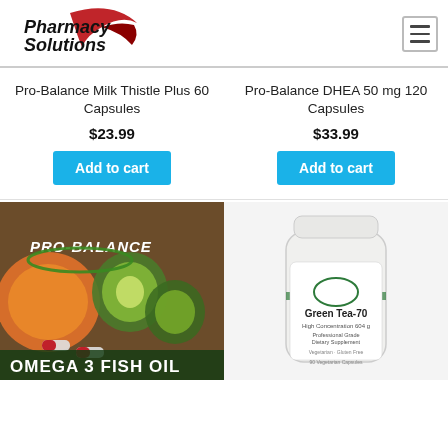[Figure (logo): Pharmacy Solutions logo with italic black text and red swoosh]
Pro-Balance Milk Thistle Plus 60 Capsules
$23.99
Add to cart
Pro-Balance DHEA 50 mg 120 Capsules
$33.99
Add to cart
[Figure (photo): Pro-Balance Omega 3 Fish Oil product image with fruits and capsules on dark background]
[Figure (photo): Green Tea-70 supplement bottle, white with green label]